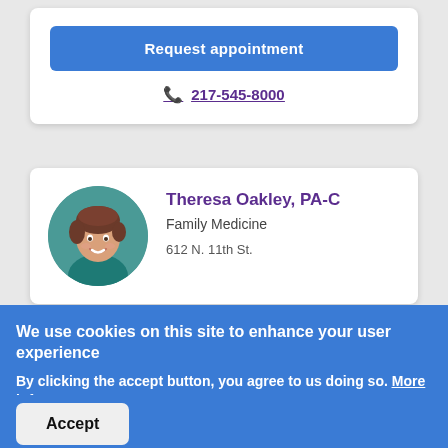Request appointment
217-545-8000
Theresa Oakley, PA-C
Family Medicine
612 N. 11th St.
[Figure (photo): Circular headshot photo of Theresa Oakley, a woman with short brown hair, smiling, against a teal background]
We use cookies on this site to enhance your user experience
By clicking the accept button, you agree to us doing so. More info
No thanks
Accept